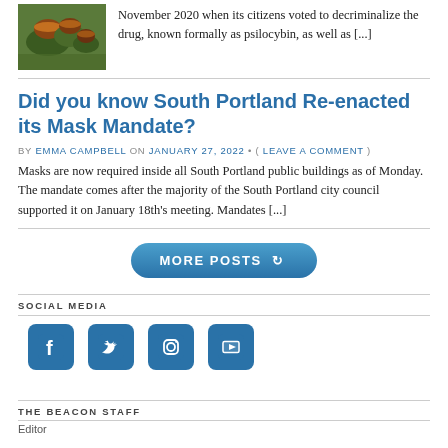[Figure (photo): Photo of mushrooms on a plant/log]
November 2020 when its citizens voted to decriminalize the drug, known formally as psilocybin, as well as [...]
Did you know South Portland Re-enacted its Mask Mandate?
BY EMMA CAMPBELL ON JANUARY 27, 2022 • ( LEAVE A COMMENT )
Masks are now required inside all South Portland public buildings as of Monday. The mandate comes after the majority of the South Portland city council supported it on January 18th's meeting. Mandates [...]
MORE POSTS
SOCIAL MEDIA
[Figure (illustration): Social media icons: Facebook, Twitter, Instagram, YouTube]
THE BEACON STAFF
Editor